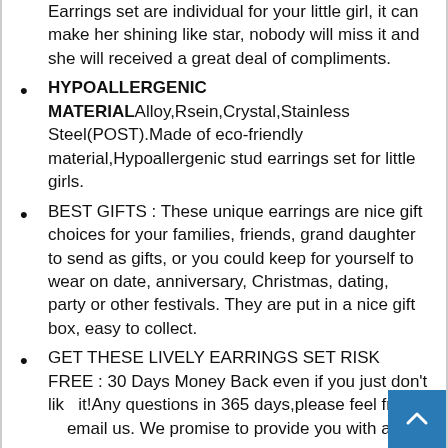Earrings set are individual for your little girl, it can make her shining like star, nobody will miss it and she will received a great deal of compliments.
HYPOALLERGENIC MATERIAL Alloy,Rsein,Crystal,Stainless Steel(POST).Made of eco-friendly material,Hypoallergenic stud earrings set for little girls.
BEST GIFTS : These unique earrings are nice gift choices for your families, friends, grand daughter to send as gifts, or you could keep for yourself to wear on date, anniversary, Christmas, dating, party or other festivals. They are put in a nice gift box, easy to collect.
GET THESE LIVELY EARRINGS SET RISK FREE : 30 Days Money Back even if you just don't like it!Any questions in 365 days,please feel free email us. We promise to provide you with a